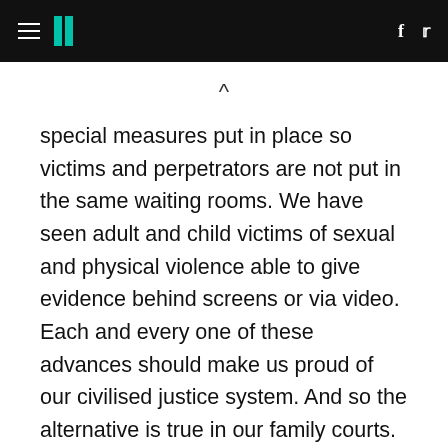HuffPost navigation header with hamburger menu, logo, Facebook and Twitter icons
special measures put in place so victims and perpetrators are not put in the same waiting rooms. We have seen adult and child victims of sexual and physical violence able to give evidence behind screens or via video. Each and every one of these advances should make us proud of our civilised justice system. And so the alternative is true in our family courts. Every victim questioned or even approached in court by their violent aggressor brings shame on our justice system; makes us look backward and unjust. Every woman forced to answer to a man